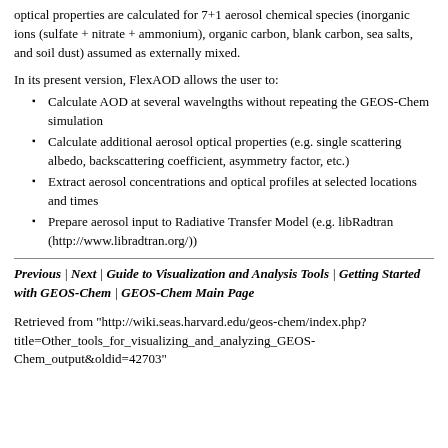optical properties are calculated for 7+1 aerosol chemical species (inorganic ions (sulfate + nitrate + ammonium), organic carbon, blank carbon, sea salts, and soil dust) assumed as externally mixed.
In its present version, FlexAOD allows the user to:
Calculate AOD at several wavelngths without repeating the GEOS-Chem simulation
Calculate additional aerosol optical properties (e.g. single scattering albedo, backscattering coefficient, asymmetry factor, etc.)
Extract aerosol concentrations and optical profiles at selected locations and times
Prepare aerosol input to Radiative Transfer Model (e.g. libRadtran (http://www.libradtran.org/))
Previous | Next | Guide to Visualization and Analysis Tools | Getting Started with GEOS-Chem | GEOS-Chem Main Page
Retrieved from "http://wiki.seas.harvard.edu/geos-chem/index.php?title=Other_tools_for_visualizing_and_analyzing_GEOS-Chem_output&oldid=42703"